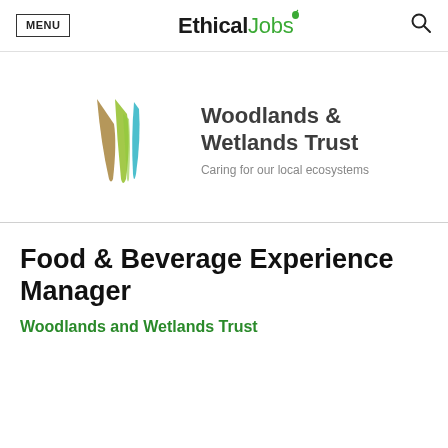MENU | EthicalJobs | [search icon]
[Figure (logo): Woodlands & Wetlands Trust logo: stylized W mark in gold, green, and teal, with text 'Woodlands & Wetlands Trust' and tagline 'Caring for our local ecosystems']
Food & Beverage Experience Manager
Woodlands and Wetlands Trust